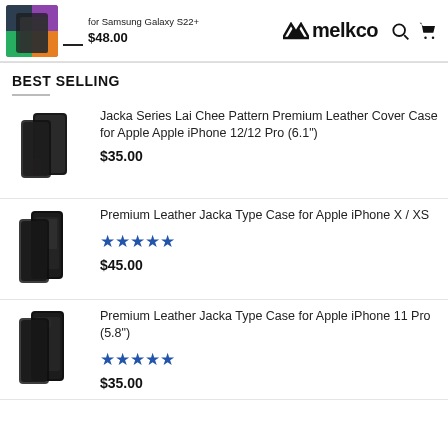for Samsung Galaxy S22+  $48.00  melkco
BEST SELLING
[Figure (photo): Jacka Series Lai Chee Pattern Premium Leather Cover Case for Apple Apple iPhone 12/12 Pro (6.1") product photo]
Jacka Series Lai Chee Pattern Premium Leather Cover Case for Apple Apple iPhone 12/12 Pro (6.1")
$35.00
[Figure (photo): Premium Leather Jacka Type Case for Apple iPhone X / XS product photo]
Premium Leather Jacka Type Case for Apple iPhone X / XS
★★★★★
$45.00
[Figure (photo): Premium Leather Jacka Type Case for Apple iPhone 11 Pro (5.8") product photo]
Premium Leather Jacka Type Case for Apple iPhone 11 Pro (5.8")
★★★★★
$35.00